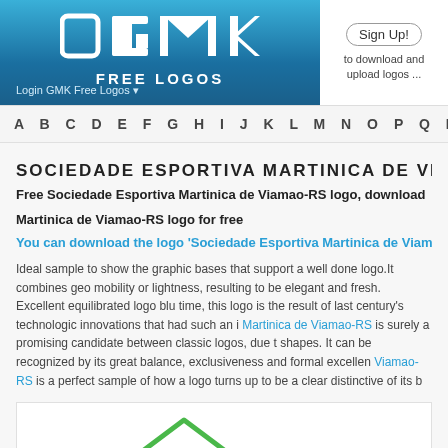[Figure (logo): GMK Free Logos website header banner with gradient blue background showing GMK logo text and 'FREE LOGOS' subtitle, with login link. Sign Up! bubble on the right side with handwritten text 'to download and upload logos ...']
A B C D E F G H I J K L M N O P Q R S T U V W X Y Z NUM
SOCIEDADE ESPORTIVA MARTINICA DE VIAMAO
Free Sociedade Esportiva Martinica de Viamao-RS logo, download
Martinica de Viamao-RS logo for free
You can download the logo 'Sociedade Esportiva Martinica de Viamao-RS' here
Ideal sample to show the graphic bases that support a well done logo.It combines geo mobility or lightness, resulting to be elegant and fresh. Excellent equilibrated logo blu time, this logo is the result of last century's technologic innovations that had such an i Martinica de Viamao-RS is surely a promising candidate between classic logos, due t shapes. It can be recognized by its great balance, exclusiveness and formal excellen Viamao-RS is a perfect sample of how a logo turns up to be a clear distinctive of its b
[Figure (logo): Partial logo preview showing green geometric house/roof shape on white background]